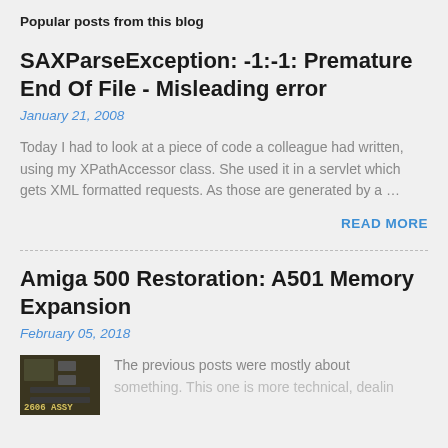Popular posts from this blog
SAXParseException: -1:-1: Premature End Of File - Misleading error
January 21, 2008
Today I had to look at a piece of code a colleague had written, using my XPathAccessor class. She used it in a servlet which gets XML formatted requests. As those are generated by a …
READ MORE
Amiga 500 Restoration: A501 Memory Expansion
February 05, 2018
[Figure (photo): Photo thumbnail of Amiga 500 A501 memory expansion board with chip markings visible]
The previous posts were mostly about something. This one is more technical, dealing...